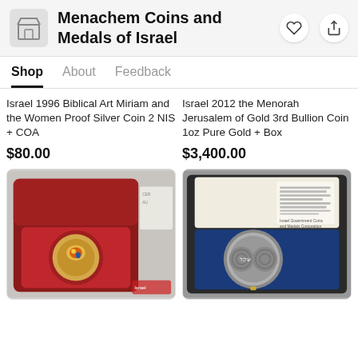Menachem Coins and Medals of Israel
Shop | About | Feedback
Israel 1996 Biblical Art Miriam and the Women Proof Silver Coin 2 NIS + COA
$80.00
Israel 2012 the Menorah Jerusalem of Gold 3rd Bullion Coin 1oz Pure Gold + Box
$3,400.00
[Figure (photo): A colorful coin displayed in an open red velvet presentation box, with a certificate in the background.]
[Figure (photo): A silver coin displayed in an open dark blue velvet presentation box, with a certificate of authenticity card visible.]